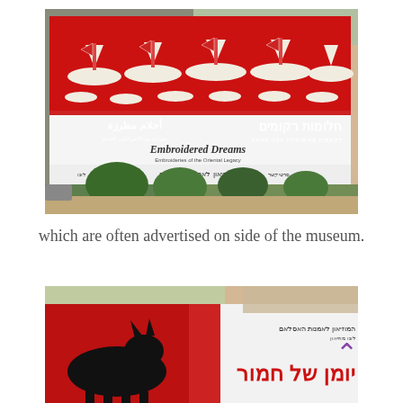[Figure (photo): Photograph of a museum building exterior with a large red billboard on its side advertising an exhibition called 'Embroidered Dreams' shown in Hebrew, Arabic, and English, with decorative embroidered sailboat motifs on white background.]
which are often advertised on side of the museum.
[Figure (photo): Close-up photograph of a red billboard on the side of a museum building showing a silhouette of a donkey and Hebrew text, with a museum logo and Hebrew text on white section to the right.]